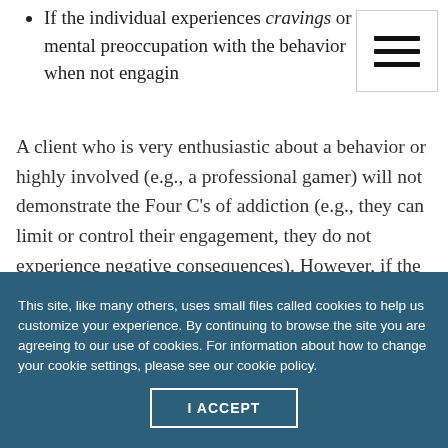If the individual experiences cravings or mental preoccupation with the behavior when not engaging
A client who is very enthusiastic about a behavior or highly involved (e.g., a professional gamer) will not demonstrate the Four C’s of addiction (e.g., they can limit or control their engagement, they do not experience negative consequences). However, if the Four C’s are present, it should alert counselors to engage in further assessment for a behavioral
This site, like many others, uses small files called cookies to help us customize your experience. By continuing to browse the site you are agreeing to our use of cookies. For information about how to change your cookie settings, please see our cookie policy.
I ACCEPT